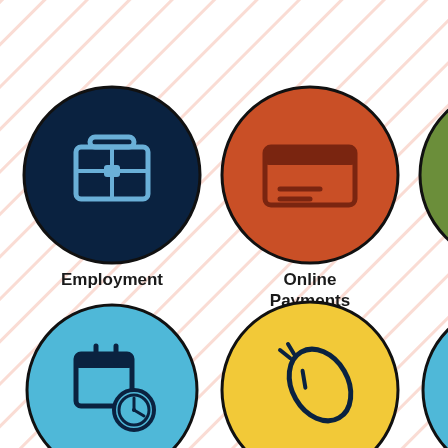[Figure (infographic): Government services infographic with 6 circular icons arranged in 2 rows of 3. Row 1: Employment (dark navy circle with briefcase icon), Online Payments (orange-red circle with credit card icon), Transportation (olive green circle with bus icon). Row 2: Agendas & Minutes (light blue circle with calendar/clock icon), Watch Meetings Online (yellow circle with computer mouse icon), Traffic Advisory (light blue circle with traffic cone icon). Background has diagonal light red/salmon stripe pattern.]